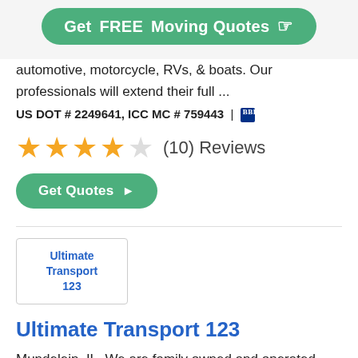[Figure (other): Green button with text 'Get FREE Moving Quotes' and a pointing hand icon]
automotive, motorcycle, RVs, & boats. Our professionals will extend their full ...
US DOT # 2249641, ICC MC # 759443 | BBB badge
[Figure (other): Star rating: 4 out of 5 stars with (10) Reviews]
[Figure (other): Green button: Get Quotes with arrow]
[Figure (other): Company logo box with text: Ultimate Transport 123]
Ultimate Transport 123
Mundelein, IL. We are family owned and operated specialized auto shipping company and we offer a complete door to door